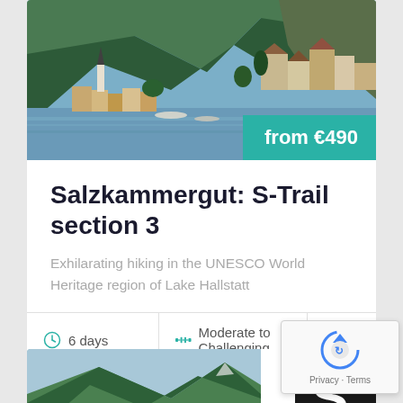[Figure (photo): Aerial/lakeside view of Hallstatt, Austria — alpine village with church steeple on the shore of a lake, green forested mountains behind, blue sky]
from €490
Salzkammergut: S-Trail section 3
Exhilarating hiking in the UNESCO World Heritage region of Lake Hallstatt
6 days
Moderate to Challenging
[Figure (photo): Partial view of second tour card — mountain landscape photo on left, dark badge with 'S' letter on right]
[Figure (other): Google reCAPTCHA widget with spinning icon, Privacy and Terms links]